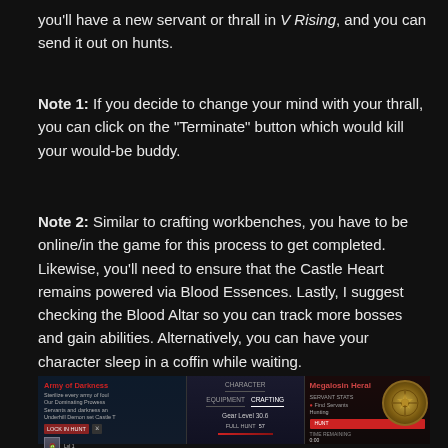you'll have a new servant or thrall in V Rising, and you can send it out on hunts.
Note 1: If you decide to change your mind with your thrall, you can click on the "Terminate" button which would kill your would-be buddy.
Note 2: Similar to crafting workbenches, you have to be online/in the game for this process to get completed. Likewise, you'll need to ensure that the Castle Heart remains powered via Blood Essences. Lastly, I suggest checking the Blood Altar so you can track more bosses and gain abilities. Alternatively, you can have your character sleep in a coffin while waiting.
[Figure (screenshot): In-game screenshot from V Rising showing the servant/thrall management UI panel with character info, crafting tabs, gear level, and a circular emblem icon in the corner.]